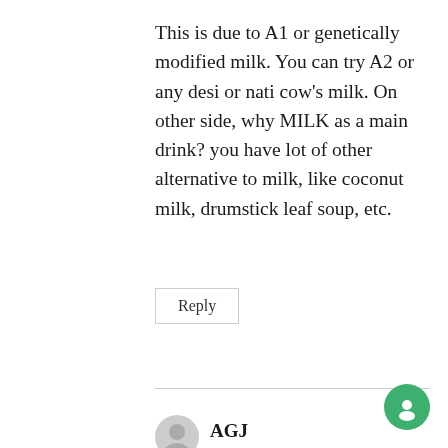This is due to A1 or genetically modified milk. You can try A2 or any desi or nati cow's milk. On other side, why MILK as a main drink? you have lot of other alternative to milk, like coconut milk, drumstick leaf soup, etc.
Reply
AGJ
May 27, 2018 at 1:35 AM
Dear Admin,
I woud love to know of other alternatives to the commercially